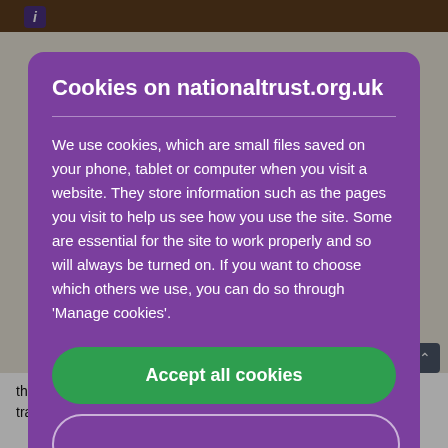[Figure (screenshot): Screenshot of nationaltrust.org.uk website showing a cookie consent modal dialog over a blurred map/walking route page background.]
Cookies on nationaltrust.org.uk
We use cookies, which are small files saved on your phone, tablet or computer when you visit a website. They store information such as the pages you visit to help us see how you use the site. Some are essential for the site to work properly and so will always be turned on. If you want to choose which others we use, you can do so through 'Manage cookies'.
Accept all cookies
the right then almost immediately owing to the left to join an uphill track. After about 30m uphill, at a path crossing